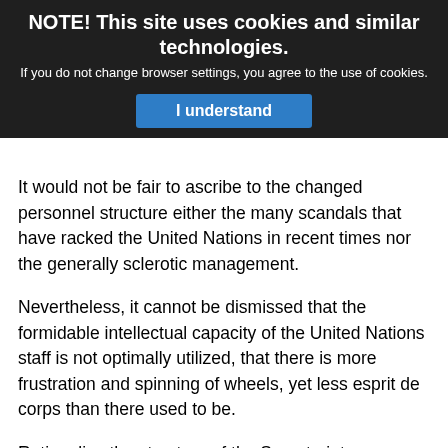experience might well be an asset, a moratorium before joining the Secretariat in order to minimize any subsequent conflicts of interest. Changes are necessary.
NOTE! This site uses cookies and similar technologies.
If you do not change browser settings, you agree to the use of cookies.
I understand
It would not be fair to ascribe to the changed personnel structure either the many scandals that have racked the United Nations in recent times nor the generally sclerotic management.
Nevertheless, it cannot be dismissed that the formidable intellectual capacity of the United Nations staff is not optimally utilized, that there is more frustration and spinning of wheels, yet less esprit de corps than there used to be.
Rationalize the structure of the Secretariat
Dag Hammarskjöld had a clear vision for the Secretariat, and he articulated it forcefully. It would be desirable if the ninth Secretary-General were to emulate the second. It is hoped that, on taking office, she compellingly